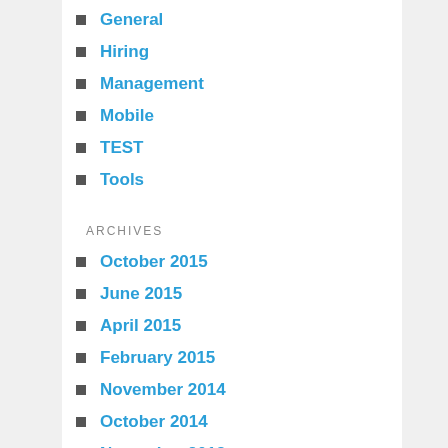General
Hiring
Management
Mobile
TEST
Tools
ARCHIVES
October 2015
June 2015
April 2015
February 2015
November 2014
October 2014
November 2013
October 2013
April 2013
January 2013
December 2012
October 2012
September 2012